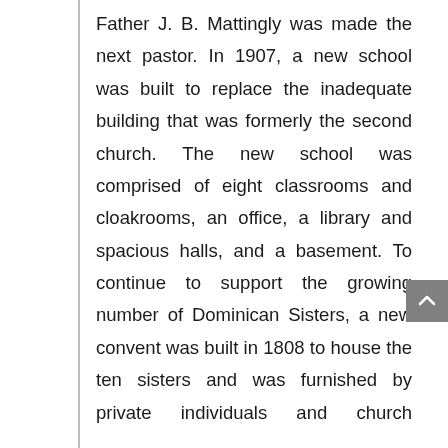Father J. B. Mattingly was made the next pastor. In 1907, a new school was built to replace the inadequate building that was formerly the second church. The new school was comprised of eight classrooms and cloakrooms, an office, a library and spacious halls, and a basement. To continue to support the growing number of Dominican Sisters, a new convent was built in 1808 to house the ten sisters and was furnished by private individuals and church organizations. Father Mattingly supervised the construction of an assembly room beneath the church and completed a new pastoral residence in 1911 on the site of the old 1840 church. All three buildings were built to be permanent and